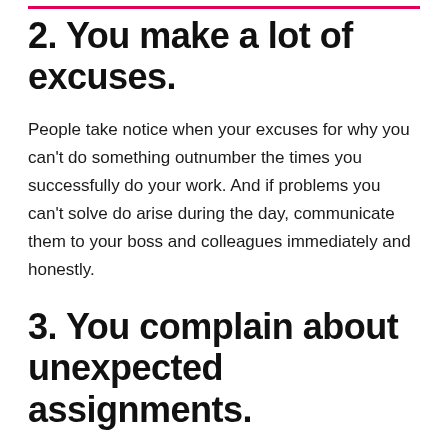2. You make a lot of excuses.
People take notice when your excuses for why you can't do something outnumber the times you successfully do your work. And if problems you can't solve do arise during the day, communicate them to your boss and colleagues immediately and honestly.
3. You complain about unexpected assignments.
Nobody likes the surprise of extra work, but if you regularly communicate your dissatisfaction with grumbling or even an explicit denial of the assignment, you will be labeled as someone with a poor work ethic.